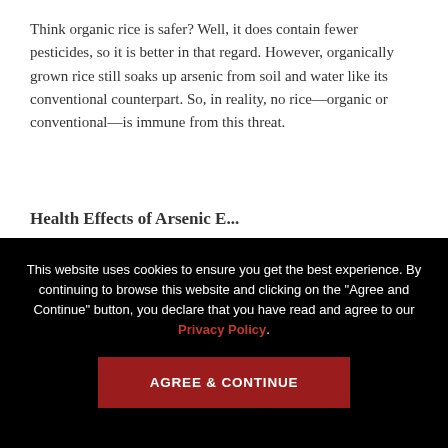Think organic rice is safer? Well, it does contain fewer pesticides, so it is better in that regard. However, organically grown rice still soaks up arsenic from soil and water like its conventional counterpart. So, in reality, no rice—organic or conventional—is immune from this threat.
Health Effects of Arsenic E...
This website uses cookies to ensure you get the best experience. By continuing to browse this website and clicking on the "Agree and Continue" button, you declare that you have read and agree to our Privacy Policy.